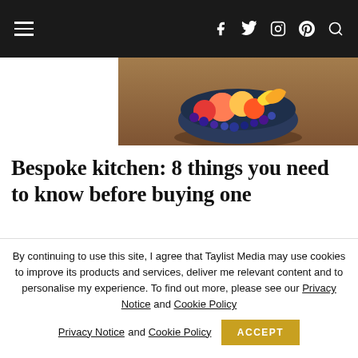Navigation bar with hamburger menu, social icons (Facebook, Twitter, Instagram, Pinterest), and search
[Figure (photo): Bowl of mixed fruits including blueberries, peaches, and bananas on a wooden surface]
Bespoke kitchen: 8 things you need to know before buying one
11th November 2021
Get our newsletter
By continuing to use this site, I agree that Taylist Media may use cookies to improve its products and services, deliver me relevant content and to personalise my experience. To find out more, please see our Privacy Notice and Cookie Policy